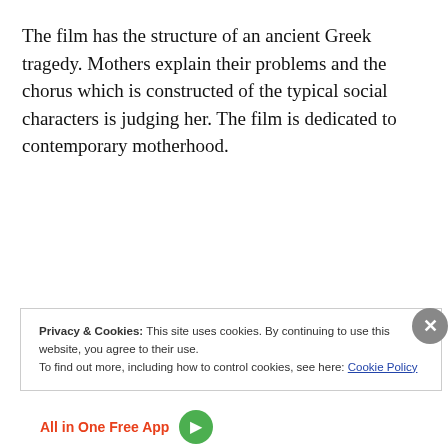The film has the structure of an ancient Greek tragedy. Mothers explain their problems and the chorus which is constructed of the typical social characters is judging her. The film is dedicated to contemporary motherhood.
Privacy & Cookies: This site uses cookies. By continuing to use this website, you agree to their use.
To find out more, including how to control cookies, see here: Cookie Policy
Close and accept
All in One Free App